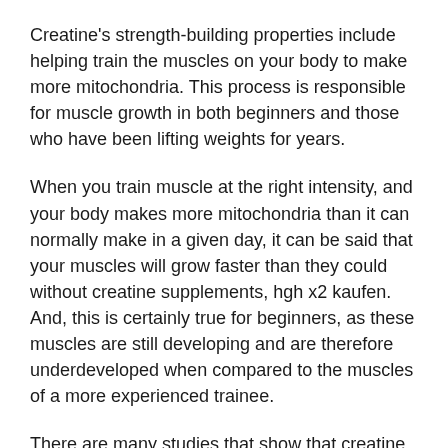Creatine's strength-building properties include helping train the muscles on your body to make more mitochondria. This process is responsible for muscle growth in both beginners and those who have been lifting weights for years.
When you train muscle at the right intensity, and your body makes more mitochondria than it can normally make in a given day, it can be said that your muscles will grow faster than they could without creatine supplements, hgh x2 kaufen. And, this is certainly true for beginners, as these muscles are still developing and are therefore underdeveloped when compared to the muscles of a more experienced trainee.
There are many studies that show that creatine has the ability to create new mitochondria in muscle tissue. And, it helps